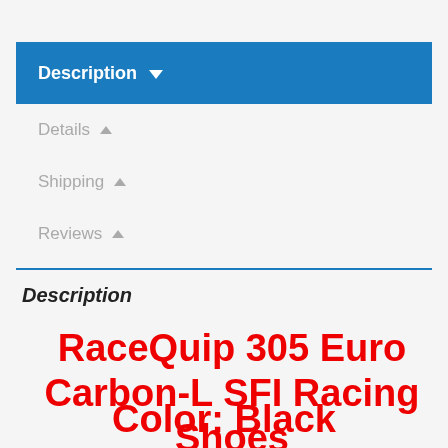Description ▾
Details ▲
Shipping ▲
Reviews ▲
Description
RaceQuip 305 Euro Carbon-L SFI Racing Shoes Color: Black